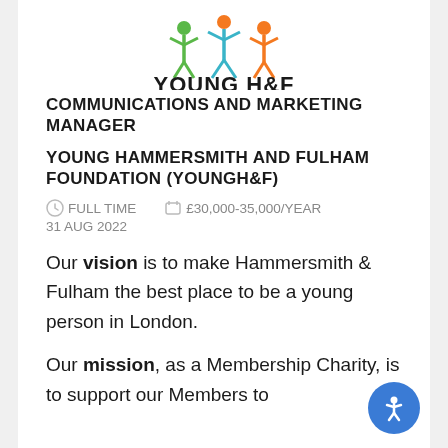[Figure (logo): Young H&F logo with colourful abstract figures and bold text YOUNG H&F]
COMMUNICATIONS AND MARKETING MANAGER
YOUNG HAMMERSMITH AND FULHAM FOUNDATION (YOUNGH&F)
FULL TIME   £30,000-35,000/YEAR
31 AUG 2022
Our vision is to make Hammersmith & Fulham the best place to be a young person in London.
Our mission, as a Membership Charity, is to support our Members to